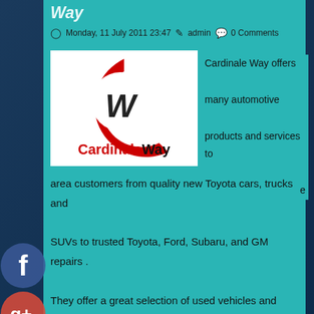Way
Monday, 11 July 2011 23:47   admin   0 Comments
[Figure (logo): CardinaleWay logo — red letter C with black W inside, red CardinaleWay text below]
Cardinale Way offers many automotive products and services to their South Lake Tahoe area customers from quality new Toyota cars, trucks and SUVs to trusted Toyota, Ford, Subaru, and GM repairs . They offer a great selection of used vehicles and anyone looking for a vehicle in South Lake Tahoe will likely find what they want at their dealership. They carry a comprehensive line of Toyota vehicles, making them a